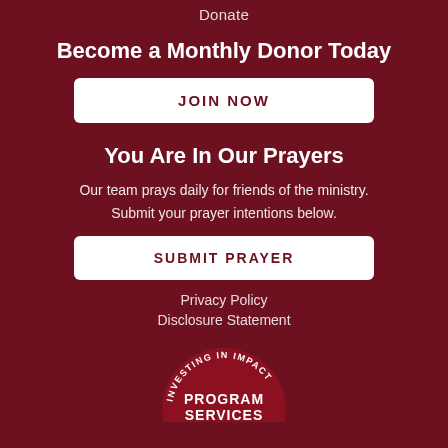Donate
Become a Monthly Donor Today
JOIN NOW
You Are In Our Prayers
Our team prays daily for friends of the ministry. Submit your prayer intentions below.
SUBMIT PRAYER
Privacy Policy
Disclosure Statement
[Figure (logo): Circular badge reading 'INVESTING IN IMPACT' around the top arc, with 'PROGRAM SERVICES' in the center]